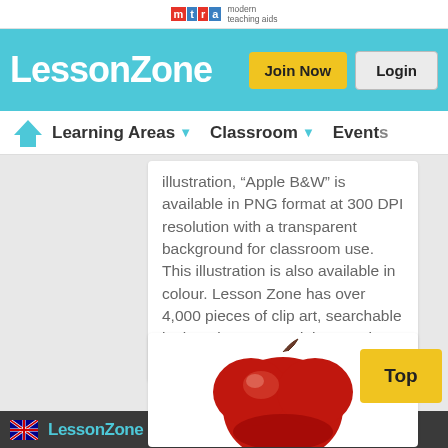mta modern teaching aids
LessonZone
Join Now
Login
Learning Areas  Classroom  Events
illustration, "Apple B&W" is available in PNG format at 300 DPI resolution with a transparent background for classroom use. This illustration is also available in colour. Lesson Zone has over 4,000 pieces of clip art, searchable by learning area and theme. The clip art is fast and easy to ...More
[Figure (illustration): Illustration of a red apple with a brown stem on a white background]
About Us  Lesson Zone  Help